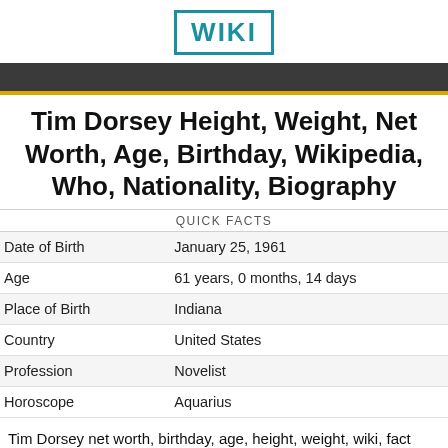WIKI
Tim Dorsey Height, Weight, Net Worth, Age, Birthday, Wikipedia, Who, Nationality, Biography
| QUICK FACTS |  |
| --- | --- |
| Date of Birth | January 25, 1961 |
| Age | 61 years, 0 months, 14 days |
| Place of Birth | Indiana |
| Country | United States |
| Profession | Novelist |
| Horoscope | Aquarius |
Tim Dorsey net worth, birthday, age, height, weight, wiki, fact 2020-21! In this article, we will discover how old is Tim Dorsey? Who is Tim Dorsey dating now &